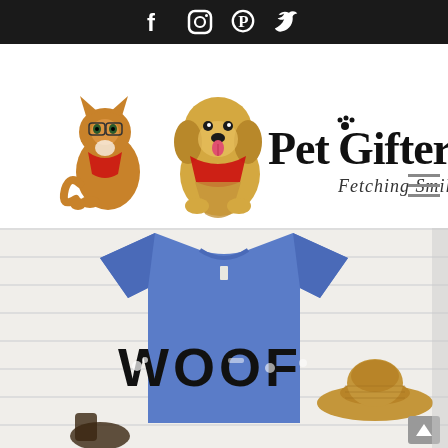Social media icons: Facebook, Instagram, Pinterest, Twitter
[Figure (logo): PetGifter.com logo with illustrated cat and dog wearing bandanas, tagline: Fetching Smiles]
[Figure (photo): Blue t-shirt with WOOF text made of dog-themed graphics (paws, bones, dogs), displayed on white shiplap background with a straw hat and boots]